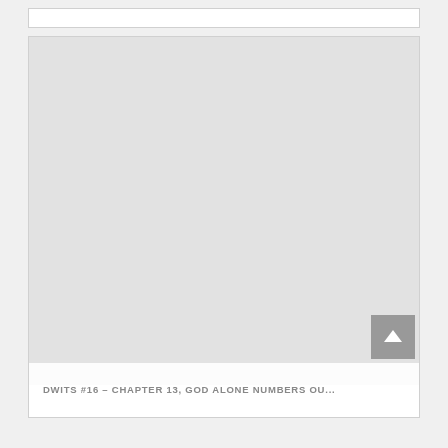[Figure (other): A large light gray placeholder image box taking up the majority of the card area]
DWITS #16 – CHAPTER 13, GOD ALONE NUMBERS OU...